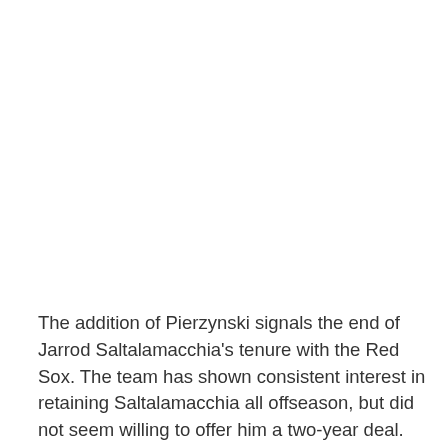The addition of Pierzynski signals the end of Jarrod Saltalamacchia's tenure with the Red Sox. The team has shown consistent interest in retaining Saltalamacchia all offseason, but did not seem willing to offer him a two-year deal. Pierzynski will provide the Sox with a veteran leader behind the plate to share